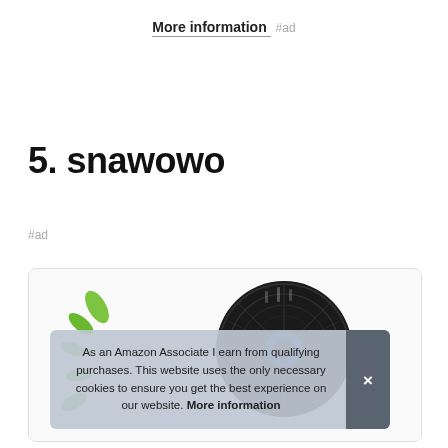More information #ad
5. snawowo
#ad
[Figure (photo): Product photo of a snawowo fan with green leaf graphics on white background, showing a dark circular fan head]
As an Amazon Associate I earn from qualifying purchases. This website uses the only necessary cookies to ensure you get the best experience on our website. More information